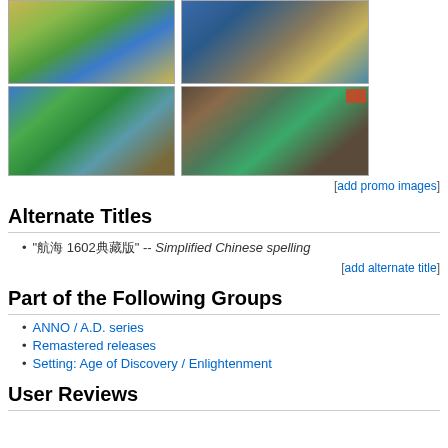[Figure (screenshot): Four game screenshots of Anno 1602 showing isometric city building maps with islands, water, and dense city layouts]
[add promo images]
Alternate Titles
"航海 1602典藏版" -- Simplified Chinese spelling
[add alternate title]
Part of the Following Groups
ANNO / A.D. series
Remastered releases
Setting: Age of Discovery / Enlightenment
User Reviews